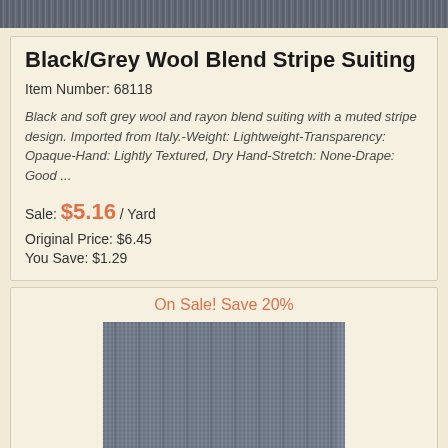[Figure (photo): Top strip showing a close-up of the black/grey wool blend stripe suiting fabric]
Black/Grey Wool Blend Stripe Suiting
Item Number: 68118
Black and soft grey wool and rayon blend suiting with a muted stripe design. Imported from Italy.-Weight: Lightweight-Transparency: Opaque-Hand: Lightly Textured, Dry Hand-Stretch: None-Drape: Good ...
Sale: $5.16 / Yard
Original Price: $6.45
You Save: $1.29
On Sale! Save 20%
[Figure (photo): Close-up swatch of the black and grey wool blend stripe suiting fabric showing texture and subtle stripe pattern]